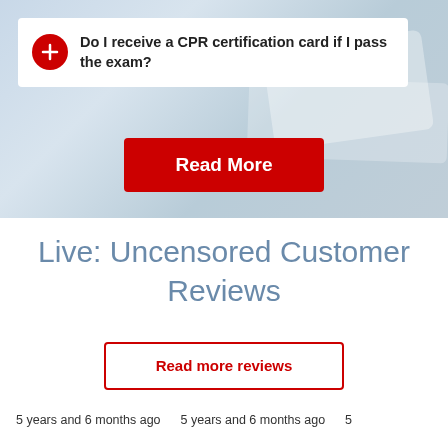[Figure (screenshot): Hero banner with light blue-grey background, decorative blurred shapes, a white FAQ card, and a red Read More button]
Do I receive a CPR certification card if I pass the exam?
Read More
Live: Uncensored Customer Reviews
Read more reviews
5 years and 6 months ago   5 years and 6 months ago   5